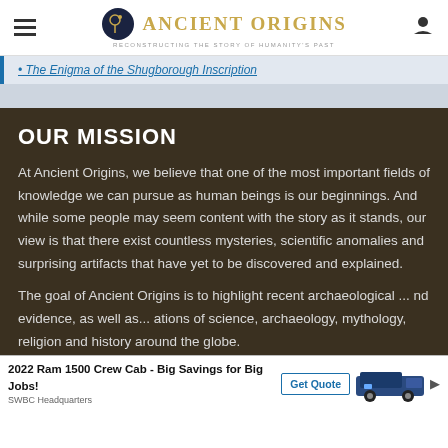Ancient Origins — Reconstructing the story of humanity's past
The Enigma of the Shugborough Inscription
OUR MISSION
At Ancient Origins, we believe that one of the most important fields of knowledge we can pursue as human beings is our beginnings. And while some people may seem content with the story as it stands, our view is that there exist countless mysteries, scientific anomalies and surprising artifacts that have yet to be discovered and explained.
The goal of Ancient Origins is to highlight recent archaeological ... nd evidence, as ... ations of science, archaeology, mythology, religion and history around the globe.
[Figure (other): Advertisement banner: 2022 Ram 1500 Crew Cab - Big Savings for Big Jobs! Get Quote button, truck image, SWBC Headquarters label]